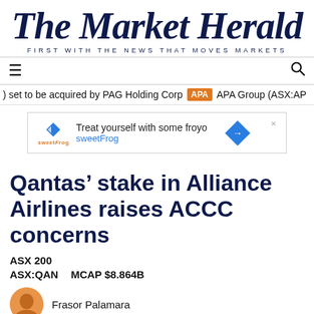The Market Herald
FIRST WITH THE NEWS THAT MOVES MARKETS
) set to be acquired by PAG Holding Corp  APA  APA Group (ASX:AP
[Figure (other): sweetFrog advertisement: 'Treat yourself with some froyo sweetFrog' with logo and arrow icon]
Qantas' stake in Alliance Airlines raises ACCC concerns
ASX 200
ASX:QAN   MCAP $8.864B
Frasor Palamara